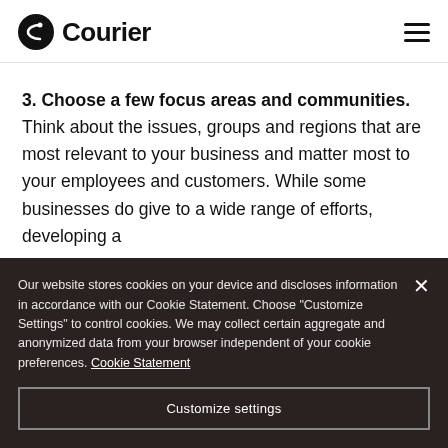Courier
3. Choose a few focus areas and communities. Think about the issues, groups and regions that are most relevant to your business and matter most to your employees and customers. While some businesses do give to a wide range of efforts, developing a
Our website stores cookies on your device and discloses information in accordance with our Cookie Statement. Choose "Customize Settings" to control cookies. We may collect certain aggregate and anonymized data from your browser independent of your cookie preferences. Cookie Statement
Customize settings